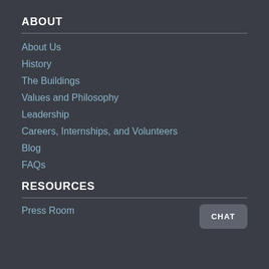ABOUT
About Us
History
The Buildings
Values and Philosophy
Leadership
Careers, Internships, and Volunteers
Blog
FAQs
CHAT
RESOURCES
Press Room